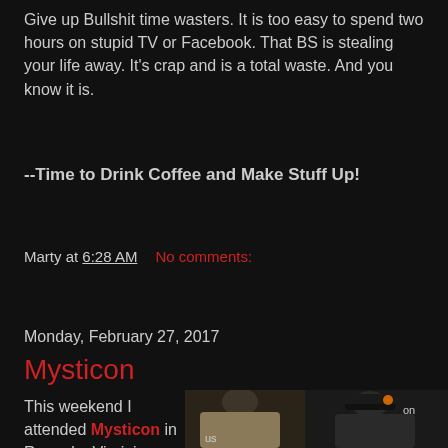Give up Bullshit time wasters. It is too easy to spend two hours on stupid TV or Facebook. That BS is stealing your life away. It's crap and is a total waste. And you know it is.
--Time to Drink Coffee and Make Stuff Up!
Marty at 6:28 AM    No comments:
Share
Monday, February 27, 2017
Mysticon
This weekend I attended Mysticon in Roanoke Virginia
[Figure (photo): Two people photographed at Mysticon convention, dark background, one wearing a hat with 'on' visible]